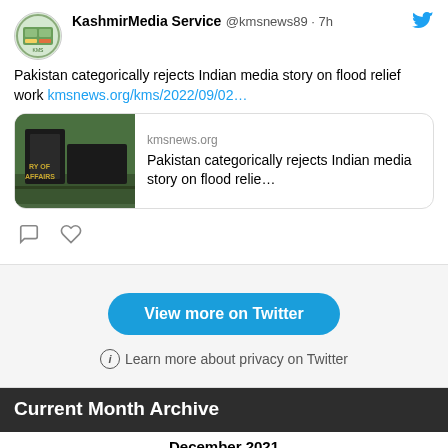[Figure (screenshot): Tweet from KashmirMedia Service (@kmsnews89, 7h ago) about Pakistan categorically rejecting Indian media story on flood relief work, with a link card preview showing kmsnews.org and tweet action icons]
[Figure (screenshot): Twitter embed footer with 'View more on Twitter' blue button and 'Learn more about privacy on Twitter' link]
Current Month Archive
| M | T | W | T | F | S |  |
| --- | --- | --- | --- | --- | --- | --- |
|  | 1 | 2 | 3 | 4 | 5 |  |